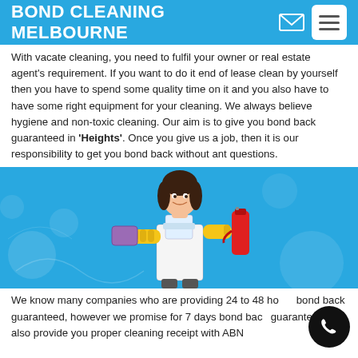BOND CLEANING MELBOURNE
With vacate cleaning, you need to fulfil your owner or real estate agent's requirement. If you want to do it end of lease clean by yourself then you have to spend some quality time on it and you also have to have some right equipment for your cleaning. We always believe hygiene and non-toxic cleaning. Our aim is to give you bond back guaranteed in 'Heights'. Once you give us a job, then it is our responsibility to get you bond back without ant questions.
[Figure (photo): Woman in apron and yellow gloves holding a purple sponge and red spray bottle against a light blue background]
We know many companies who are providing 24 to 48 hours bond back guaranteed, however we promise for 7 days bond back guaranteed. We also provide you proper cleaning receipt with ABN